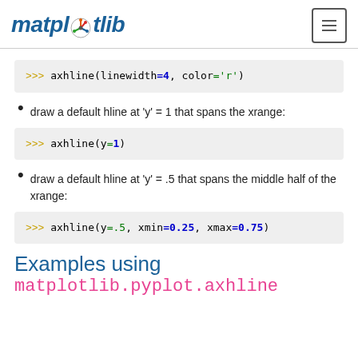matplotlib
>>> axhline(linewidth=4, color='r')
draw a default hline at 'y' = 1 that spans the xrange:
>>> axhline(y=1)
draw a default hline at 'y' = .5 that spans the middle half of the xrange:
>>> axhline(y=.5, xmin=0.25, xmax=0.75)
Examples using
matplotlib.pyplot.axhline